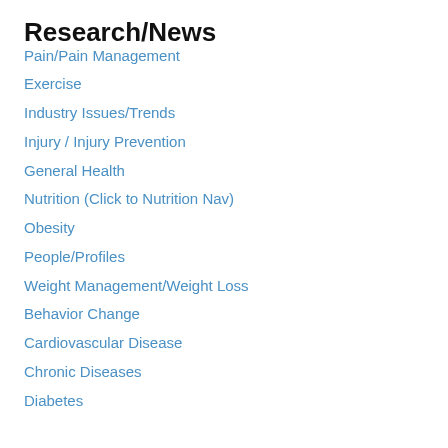Research/News
Pain/Pain Management
Exercise
Industry Issues/Trends
Injury / Injury Prevention
General Health
Nutrition (Click to Nutrition Nav)
Obesity
People/Profiles
Weight Management/Weight Loss
Behavior Change
Cardiovascular Disease
Chronic Diseases
Diabetes